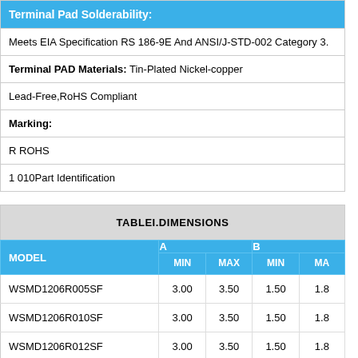| Terminal Pad Solderability: |
| --- |
| Meets EIA Specification RS 186-9E And ANSI/J-STD-002 Category 3. |
| Terminal PAD Materials: Tin-Plated Nickel-copper |
| Lead-Free,RoHS Compliant |
| Marking: |
| R ROHS |
| 1 010Part Identification |
| TABLEI.DIMENSIONS | MODEL | A MIN | A MAX | B MIN | B MAX |
| --- | --- | --- | --- | --- | --- |
| WSMD1206R005SF | 3.00 | 3.50 | 1.50 | 1.8 |
| WSMD1206R010SF | 3.00 | 3.50 | 1.50 | 1.8 |
| WSMD1206R012SF | 3.00 | 3.50 | 1.50 | 1.8 |